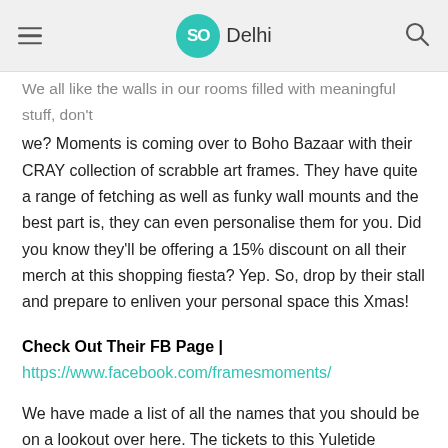SO Delhi
We all like the walls in our rooms filled with meaningful stuff, don't we? Moments is coming over to Boho Bazaar with their CRAY collection of scrabble art frames. They have quite a range of fetching as well as funky wall mounts and the best part is, they can even personalise them for you. Did you know they'll be offering a 15% discount on all their merch at this shopping fiesta? Yep. So, drop by their stall and prepare to enliven your personal space this Xmas!
Check Out Their FB Page | https://www.facebook.com/framesmoments/
We have made a list of all the names that you should be on a lookout over here. The tickets to this Yuletide shopping gala are out already so snap 'em up right away, folks!